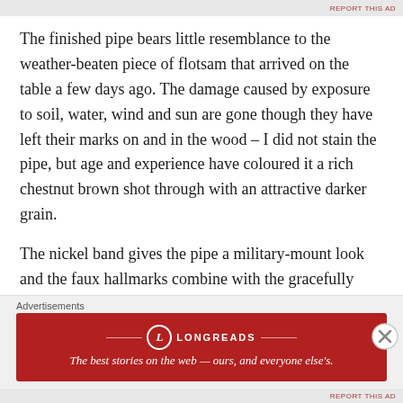REPORT THIS AD
The finished pipe bears little resemblance to the weather-beaten piece of flotsam that arrived on the table a few days ago. The damage caused by exposure to soil, water, wind and sun are gone though they have left their marks on and in the wood – I did not stain the pipe, but age and experience have coloured it a rich chestnut brown shot through with an attractive darker grain.
The nickel band gives the pipe a military-mount look and the faux hallmarks combine with the gracefully slender stem to create a charming period impression. I've already sent a few pictures to the pipe's owner,
Advertisements
[Figure (other): Longreads advertisement banner: red background with Longreads logo and tagline 'The best stories on the web — ours, and everyone else's.']
REPORT THIS AD